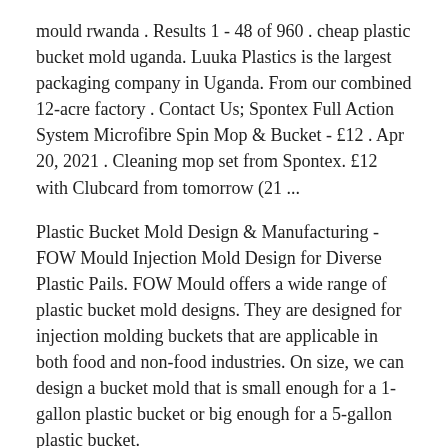mould rwanda . Results 1 - 48 of 960 . cheap plastic bucket mold uganda. Luuka Plastics is the largest packaging company in Uganda. From our combined 12-acre factory . Contact Us; Spontex Full Action System Microfibre Spin Mop & Bucket - £12 . Apr 20, 2021 . Cleaning mop set from Spontex. £12 with Clubcard from tomorrow (21 ...
Plastic Bucket Mold Design & Manufacturing - FOW Mould Injection Mold Design for Diverse Plastic Pails. FOW Mould offers a wide range of plastic bucket mold designs. They are designed for injection molding buckets that are applicable in both food and non-food industries. On size, we can design a bucket mold that is small enough for a 1-gallon plastic bucket or big enough for a 5-gallon plastic bucket.
Results for “plastic containers” - Tesco Groceries